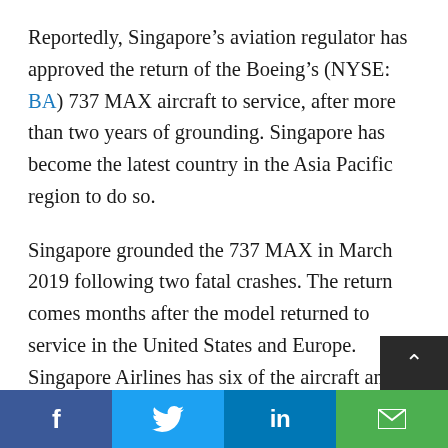Reportedly, Singapore's aviation regulator has approved the return of the Boeing's (NYSE: BA) 737 MAX aircraft to service, after more than two years of grounding. Singapore has become the latest country in the Asia Pacific region to do so.
Singapore grounded the 737 MAX in March 2019 following two fatal crashes. The return comes months after the model returned to service in the United States and Europe. Singapore Airlines has six of the aircraft and is expected to take delivery of another eight in the next financial year ending March 31, 2022, the carrier informed. China is the biggest market in the regi...
[Figure (other): Social media sharing bar with Facebook, Twitter, LinkedIn, and email icons at the bottom of the page]